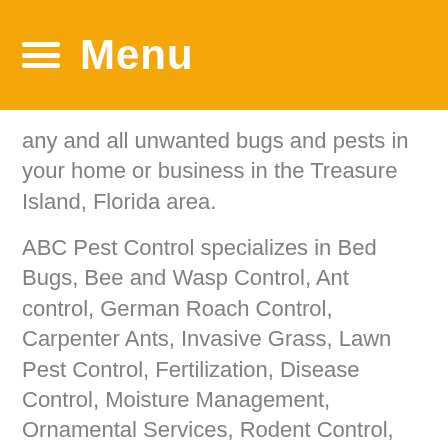Menu
any and all unwanted bugs and pests in your home or business in the Treasure Island, Florida area.
ABC Pest Control specializes in Bed Bugs, Bee and Wasp Control, Ant control, German Roach Control, Carpenter Ants, Invasive Grass, Lawn Pest Control, Fertilization, Disease Control, Moisture Management, Ornamental Services, Rodent Control, Termite Control, Citrus Tree Care, Tree Injections, Weed Control, Mosquito control, and Other Services. We also specialize in Mobile home services where we are able to treat for all the services above, and the underside of your home to ensure efficiency.
Whether you want to create a safer more healthy environment for you and your family, or you are looking